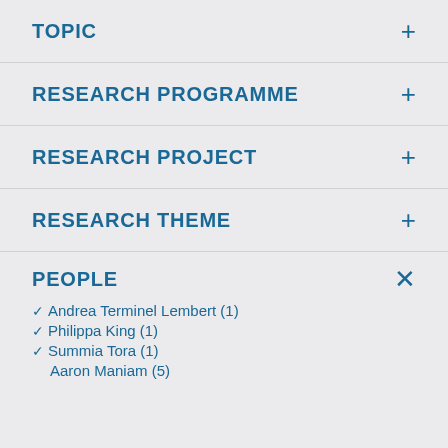TOPIC
RESEARCH PROGRAMME
RESEARCH PROJECT
RESEARCH THEME
PEOPLE
✓ Andrea Terminel Lembert (1)
✓ Philippa King (1)
✓ Summia Tora (1)
Aaron Maniam (5)